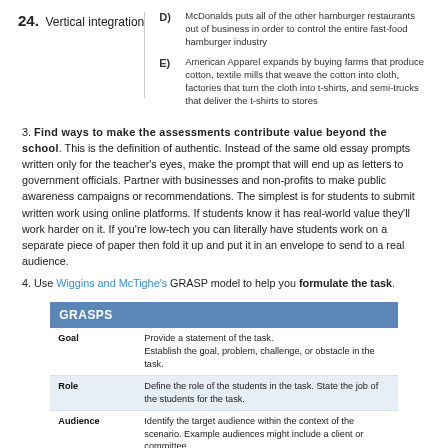24. Vertical integration   D) McDonalds puts all of the other hamburger restaurants out of business in order to control the entire fast-food hamburger industry
E) American Apparel expands by buying farms that produce cotton, textile mills that weave the cotton into cloth, factories that turn the cloth into t-shirts, and semi-trucks that deliver the t-shirts to stores
3. Find ways to make the assessments contribute value beyond the school. This is the definition of authentic. Instead of the same old essay prompts written only for the teacher's eyes, make the prompt that will end up as letters to government officials. Partner with businesses and non-profits to make public awareness campaigns or recommendations. The simplest is for students to submit written work using online platforms. If students know it has real-world value they'll work harder on it. If you're low-tech you can literally have students work on a separate piece of paper then fold it up and put it in an envelope to send to a real audience.
4. Use Wiggins and McTighe's GRASP model to help you formulate the task.
| GRASPS |  |
| --- | --- |
| Goal | Provide a statement of the task.
Establish the goal, problem, challenge, or obstacle in the task. |
| Role | Define the role of the students in the task. State the job of the students for the task. |
| Audience | Identify the target audience within the context of the scenario. Example audiences might include a client or committee. |
| Situation | Set the context of the scenario. Explain the situation. |